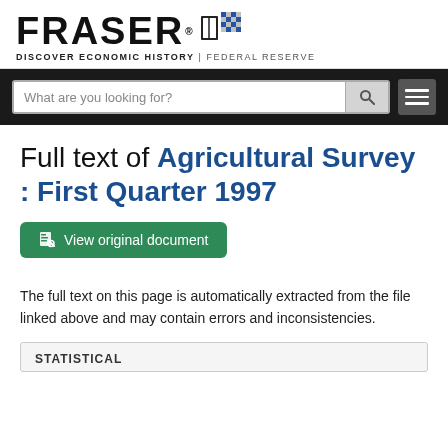FRASER — DISCOVER ECONOMIC HISTORY | FEDERAL RESERVE
Full text of Agricultural Survey : First Quarter 1997
View original document
The full text on this page is automatically extracted from the file linked above and may contain errors and inconsistencies.
STATISTICAL